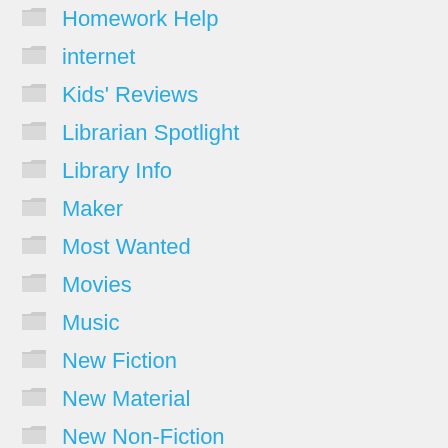Homework Help
internet
Kids' Reviews
Librarian Spotlight
Library Info
Maker
Most Wanted
Movies
Music
New Fiction
New Material
New Non-Fiction
Odd Stuff